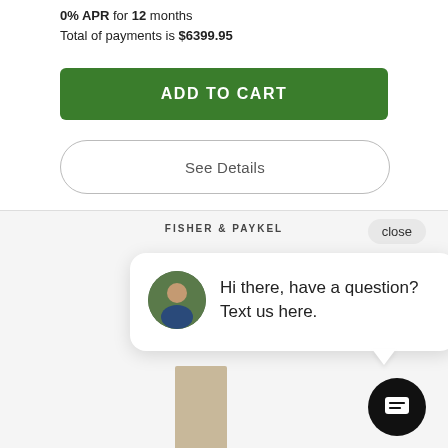0% APR for 12 months
Total of payments is $6399.95
ADD TO CART
See Details
FISHER & PAYKEL
close
Hi there, have a question? Text us here.
[Figure (photo): Appliance product image - tall refrigerator in cream/beige color]
[Figure (illustration): Chat support icon circle with message bubble icon in black circle]